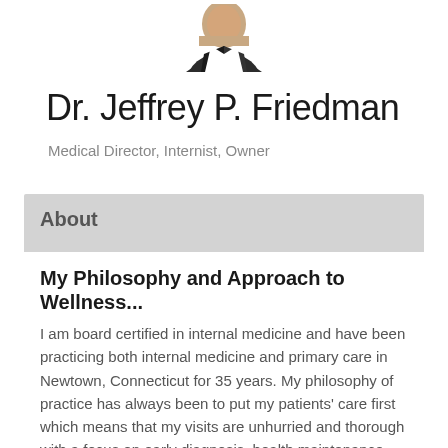[Figure (photo): Headshot photo of Dr. Jeffrey P. Friedman in a suit, cropped at top of page]
Dr. Jeffrey P. Friedman
Medical Director, Internist, Owner
About
My Philosophy and Approach to Wellness...
I am board certified in internal medicine and have been practicing both internal medicine and primary care in Newtown, Connecticut for 35 years. My philosophy of practice has always been to put my patients' care first which means that my visits are unhurried and thorough with a focus on early diagnosis, health maintenance and preventive care. My office incorporates a wellness center with programs that include physical assessments, exercise counseling and